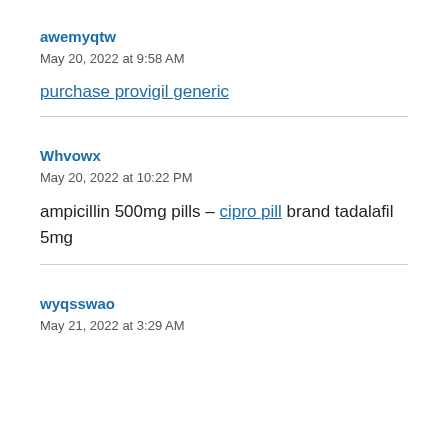awemyqtw
May 20, 2022 at 9:58 AM
purchase provigil generic
Whvowx
May 20, 2022 at 10:22 PM
ampicillin 500mg pills – cipro pill brand tadalafil 5mg
wyqsswao
May 21, 2022 at 3:29 AM